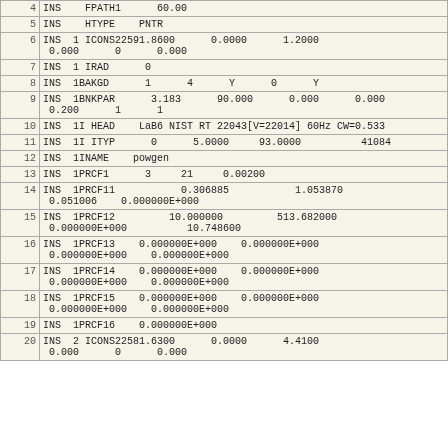| # | Content |
| --- | --- |
| 4 | INS    FPATH1      60.00 |
| 5 | INS    HTYPE    PNTR |
| 6 | INS  1 ICONS22591.8600      0.0000      1.2000
 0.000      0      0.000 |
| 7 | INS  1 IRAD      0 |
| 8 | INS  1BAKGD      1      4      Y      0      Y |
| 9 | INS  1BNKPAR      3.183      90.000      0.000      0.000
 0.200      1      1 |
| 10 | INS  1I HEAD    LaB6 NIST RT 22043[V=22014] 60Hz CW=0.533 |
| 11 | INS  1I ITYP      0      5.0000     93.0000          41084 |
| 12 | INS  1INAME    powgen |
| 13 | INS  1PRCF1      3     21     0.00200 |
| 14 | INS  1PRCF11           0.306885           1.053870
 0.051006    0.000000E+000 |
| 15 | INS  1PRCF12         10.000000         513.682000
 0.000000E+000          10.748600 |
| 16 | INS  1PRCF13    0.000000E+000    0.000000E+000
 0.000000E+000    0.000000E+000 |
| 17 | INS  1PRCF14    0.000000E+000    0.000000E+000
 0.000000E+000    0.000000E+000 |
| 18 | INS  1PRCF15    0.000000E+000    0.000000E+000
 0.000000E+000    0.000000E+000 |
| 19 | INS  1PRCF16    0.000000E+000 |
| 20 | INS  2 ICONS22581.6300      0.0000      4.4100
 0.000      0      0.000 |